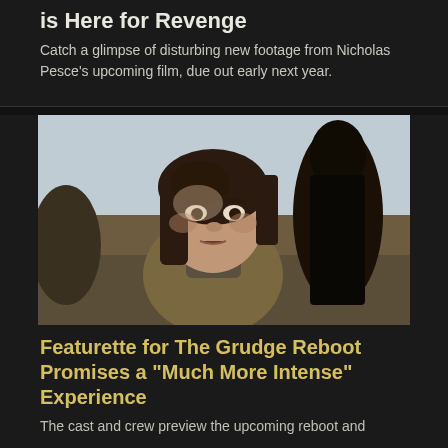is Here for Revenge
Catch a glimpse of disturbing new footage from Nicholas Pesce's upcoming film, due out early next year.
[Figure (photo): A woman with dark hair looking frightened or intense outdoors, with a dark-haired figure behind her. Scene from a horror film.]
Featurette for The Grudge Reboot Promises a “Much More Intense” Experience
The cast and crew preview the upcoming reboot and